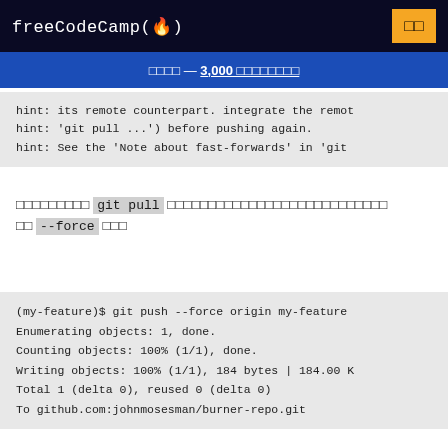freeCodeCamp(🔥)
□□□□ — 3,000 □□□□□□□□
hint: its remote counterpart. integrate the remot hint: 'git pull ...') before pushing again. hint: See the 'Note about fast-forwards' in 'git
□□□□□□□□□ git pull □□□□□□□□□□□□□□□□□□□□□□□□□□□ □□ --force □□□
(my-feature)$ git push --force origin my-feature
Enumerating objects: 1, done.
Counting objects: 100% (1/1), done.
Writing objects: 100% (1/1), 184 bytes | 184.00 K
Total 1 (delta 0), reused 0 (delta 0)
To github.com:johnmosesman/burner-repo.git